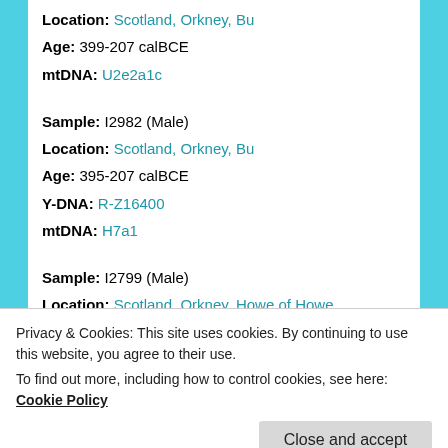Location: Scotland, Orkney, Bu
Age: 399-207 calBCE
mtDNA: U2e2a1c
Sample: I2982 (Male)
Location: Scotland, Orkney, Bu
Age: 395-207 calBCE
Y-DNA: R-Z16400
mtDNA: H7a1
Sample: I2799 (Male)
Location: Scotland, Orkney, Howe of Howe
Age: 152 calBCE – 22 calCE
Y-DNA: R-DF49
mtDNA: H1
Privacy & Cookies: This site uses cookies. By continuing to use this website, you agree to their use.
To find out more, including how to control cookies, see here: Cookie Policy
Close and accept